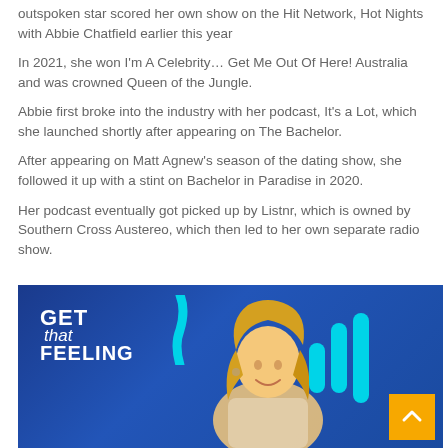outspoken star scored her own show on the Hit Network, Hot Nights with Abbie Chatfield earlier this year
In 2021, she won I'm A Celebrity… Get Me Out Of Here! Australia and was crowned Queen of the Jungle.
Abbie first broke into the industry with her podcast, It's a Lot, which she launched shortly after appearing on The Bachelor.
After appearing on Matt Agnew's season of the dating show, she followed it up with a stint on Bachelor in Paradise in 2020.
Her podcast eventually got picked up by Listnr, which is owned by Southern Cross Austereo, which then led to her own separate radio show.
[Figure (photo): Photo of a blonde woman smiling in front of a blue studio backdrop with 'GET that FEELING' text and cyan logo marks, with an orange scroll-to-top button in the corner.]